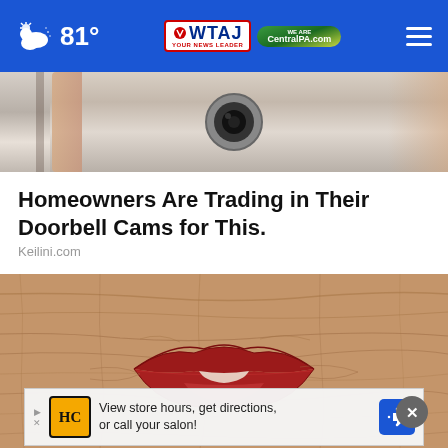81° | WTAJ Your News Leader | CentralPA.com
[Figure (photo): Partial view of a person holding a doorbell camera device, cropped showing hands and camera.]
Homeowners Are Trading in Their Doorbell Cams for This.
Keilini.com
[Figure (photo): Extreme close-up of an elderly person's lips with red lipstick on very wrinkled skin.]
View store hours, get directions, or call your salon!